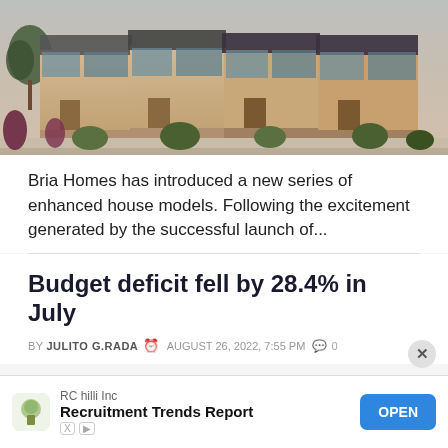[Figure (photo): Row of modern townhouse/subdivision homes with beige and dark exterior walls, plants and landscaping in front, along a sidewalk.]
Bria Homes has introduced a new series of enhanced house models. Following the excitement generated by the successful launch of...
Budget deficit fell by 28.4% in July
BY JULITO G.RADA  © AUGUST 26, 2022, 7:55 PM  0
[Figure (other): Advertisement banner: RC hilli Inc — Recruitment Trends Report — OPEN button]
RC hilli Inc — Recruitment Trends Report